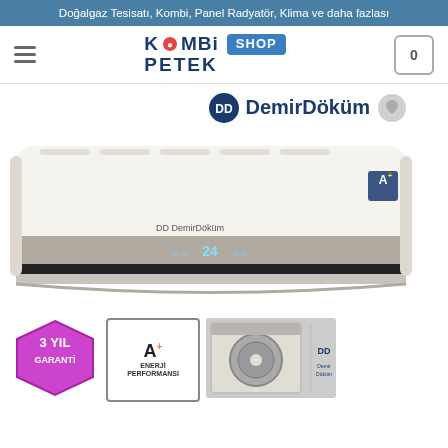Doğalgaz Tesisatı, Kombi, Panel Radyatör, Klima ve daha fazlası
[Figure (logo): KOMBi PETEK SHOP logo with hamburger menu on left and cart icon on right]
[Figure (photo): DemirDöküm branded split air conditioner indoor unit shown mounted on wall, with DD logo and A+ energy rating badge. Below are promotional badges: 3 YIL GARANTİ (3 year warranty), A+ ENERJİ PERFORMANSI (A+ energy performance), outdoor unit photo, and a remote control image.]